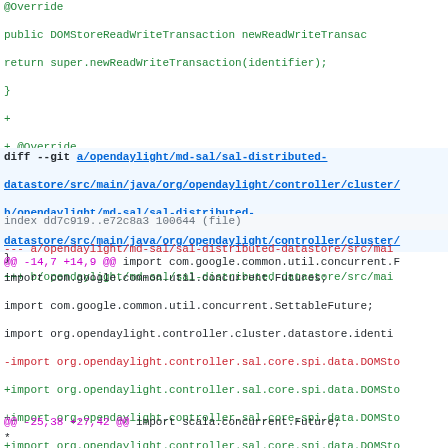@Override
    public DOMStoreReadWriteTransaction newReadWriteTransac
        return super.newReadWriteTransaction(identifier);
    }
+
+    @Override
+    public DOMStoreWriteTransaction newWriteOnlyTransaction
+        return super.newWriteOnlyTransaction(identifier);
+    }
 }
diff --git a/opendaylight/md-sal/sal-distributed-datastore/src/main/java/org/opendaylight/controller/cluster/ b/opendaylight/md-sal/sal-distributed-datastore/src/main/java/org/opendaylight/controller/cluster/
index dd7c919..e72c8a3 100644 (file)
--- a/opendaylight/md-sal/sal-distributed-datastore/src/main
+++ b/opendaylight/md-sal/sal-distributed-datastore/src/main
@@ -14,7 +14,9 @@ import com.google.common.util.concurrent.F
import com.google.common.util.concurrent.Futures;
 import com.google.common.util.concurrent.SettableFuture;
 import org.opendaylight.controller.cluster.datastore.identi
-import org.opendaylight.controller.sal.core.spi.data.DOMSto
+import org.opendaylight.controller.sal.core.spi.data.DOMSto
+import org.opendaylight.controller.sal.core.spi.data.DOMSto
+import org.opendaylight.controller.sal.core.spi.data.DOMSto
 import org.opendaylight.yangtools.yang.data.api.YangInstanc
 import org.opendaylight.yangtools.yang.data.api.schema.Norm
 import scala.concurrent.Future;
@@ -25,38 +27,42 @@ import scala.concurrent.Future;
*
 * ScalaTime Dura blic